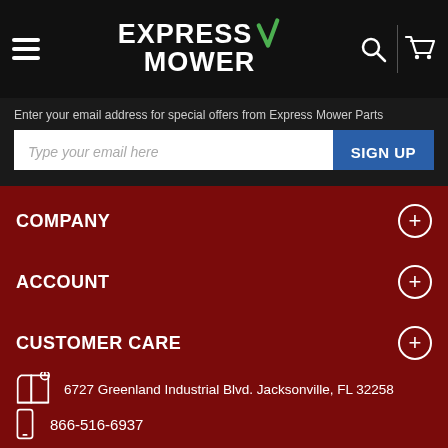EXPRESS MOWER
Enter your email address for special offers from Express Mower Parts
Type your email here | SIGN UP
COMPANY
ACCOUNT
CUSTOMER CARE
6727 Greenland Industrial Blvd. Jacksonville, FL 32258
866-516-6937
pallaibrothers@gmail.com